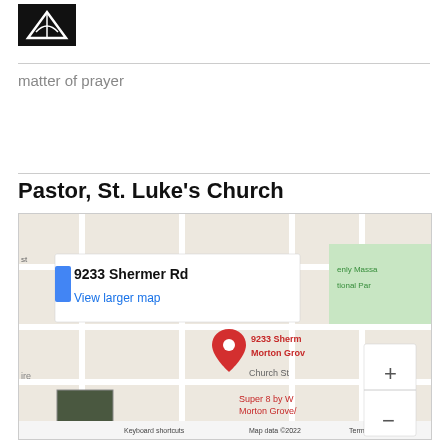[Figure (logo): Book/church logo icon in black and white]
matter of prayer
Pastor, St. Luke's Church
[Figure (screenshot): Google Maps screenshot showing 9233 Shermer Rd, Morton Grove. A red location pin is placed on the map. A popup shows '9233 Shermer Rd' and 'View larger map' in blue. Map labels include Church St, Super 8 by W Morton Grove/, Heavenly Massage, National Park. Zoom controls (+ and -) are visible. Bottom bar shows 'Keyboard shortcuts', 'Map data ©2022', 'Terms of Use'. Google logo visible.]